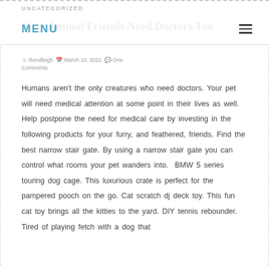UNCATEGORIZED
Your Animal Friends Need Doctors Too
Rendleigh   March 10, 2021   One Comments
Humans aren't the only creatures who need doctors. Your pet will need medical attention at some point in their lives as well. Help postpone the need for medical care by investing in the following products for your furry, and feathered, friends. Find the best narrow stair gate. By using a narrow stair gate you can control what rooms your pet wanders into.  BMW 5 series touring dog cage. This luxurious crate is perfect for the pampered pooch on the go. Cat scratch dj deck toy. This fun cat toy brings all the kitties to the yard. DIY tennis rebounder. Tired of playing fetch with a dog that